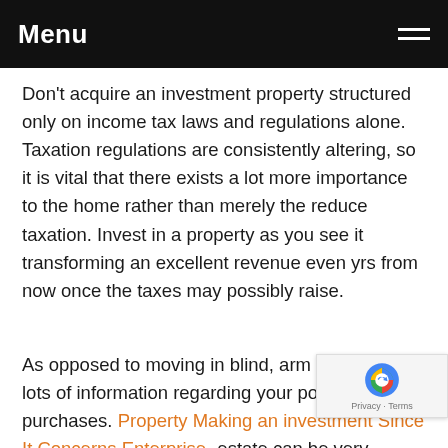Menu
Don't acquire an investment property structured only on income tax laws and regulations alone. Taxation regulations are consistently altering, so it is vital that there exists a lot more importance to the home rather than merely the reduce taxation. Invest in a property as you see it transforming an excellent revenue even yrs from now once the taxes may possibly raise.
As opposed to moving in blind, arm your self with lots of information regarding your possible purchases. Property Making an investment Since It Concerns Enterprise -estate can be very lucrative, but there are specific obligations you need to to use on. Remember the suggestions in the following paragraphs and do for more research as you may possess the